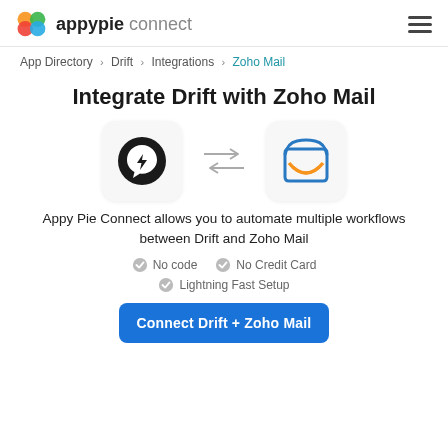appypie connect
App Directory > Drift > Integrations > Zoho Mail
Integrate Drift with Zoho Mail
[Figure (illustration): Two app icons: Drift (black circle with lightning bolt chat bubble) and Zoho Mail (open envelope with blue outline and orange flap), connected by bidirectional arrows.]
Appy Pie Connect allows you to automate multiple workflows between Drift and Zoho Mail
No code
No Credit Card
Lightning Fast Setup
Connect Drift + Zoho Mail